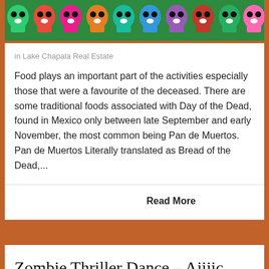[Figure (photo): Row of colorful sugar skull decorations (Day of the Dead calaveras) in green, red, pink, blue, orange and purple with painted faces]
in Lake Chapala Real Estate
Food plays an important part of the activities especially those that were a favourite of the deceased. There are some traditional foods associated with Day of the Dead, found in Mexico only between late September and early November, the most common being Pan de Muertos. Pan de Muertos Literally translated as Bread of the Dead,...
Read More
Zombie Thriller Dance – Ajijic style!